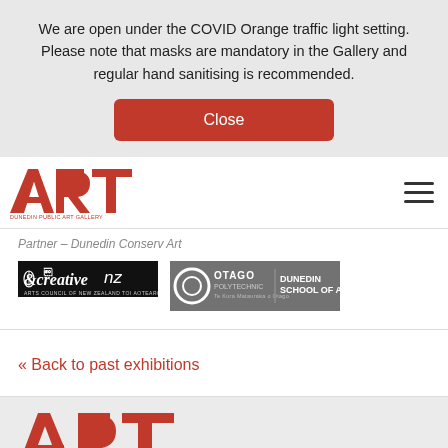We are open under the COVID Orange traffic light setting. Please note that masks are mandatory in the Gallery and regular hand sanitising is recommended.
Close
[Figure (logo): Dunedin Public Art Gallery ART logo in red]
[Figure (logo): Hamburger menu icon]
Partner – Dunedin Conserv Art
[Figure (logo): Creative NZ Arts Council of New Zealand Toi Aotearoa logo]
[Figure (logo): Otago Polytechnic Dunedin School of Art logo]
« Back to past exhibitions
[Figure (logo): Dunedin Public Art Gallery ART logo in red (partial, footer)]